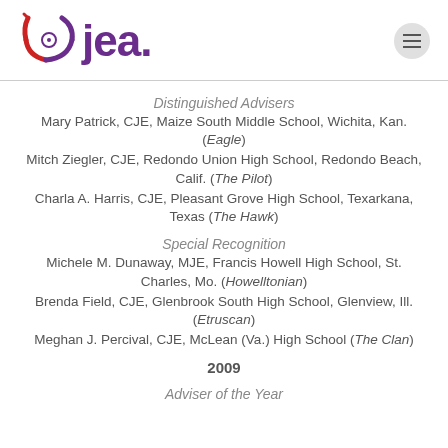[Figure (logo): JEA logo with red/purple icon and purple 'jea.' wordmark]
Distinguished Advisers
Mary Patrick, CJE, Maize South Middle School, Wichita, Kan. (Eagle)
Mitch Ziegler, CJE, Redondo Union High School, Redondo Beach, Calif. (The Pilot)
Charla A. Harris, CJE, Pleasant Grove High School, Texarkana, Texas (The Hawk)
Special Recognition
Michele M. Dunaway, MJE, Francis Howell High School, St. Charles, Mo. (Howelltonian)
Brenda Field, CJE, Glenbrook South High School, Glenview, Ill. (Etruscan)
Meghan J. Percival, CJE, McLean (Va.) High School (The Clan)
2009
Adviser of the Year